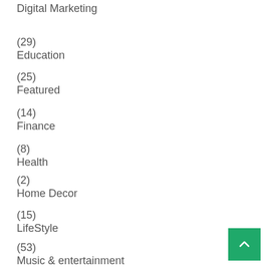Digital Marketing
(29)
Education
(25)
Featured
(14)
Finance
(8)
Health
(2)
Home Decor
(15)
LifeStyle
(53)
Music & entertainment